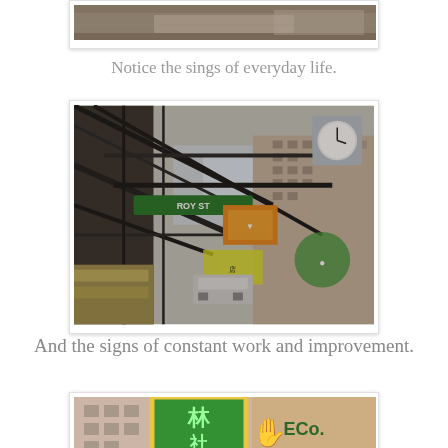[Figure (photo): Top portion of a photo (partially visible), appears to show an indoor or architectural scene with warm brown tones, cropped at top of page.]
Notice the sings of everyday life.
[Figure (photo): Photo of a busy urban street scene, likely Hong Kong, looking up at street signs (including a green sign), scaffolding/metal structures, a clock, multi-story buildings with signs, and city structures overhead.]
And the signs of constant work and improvement.
[Figure (photo): Bottom photo (partially visible) showing a green and yellow sign with Chinese characters and 'Co.' text, with pink/tan buildings in background.]